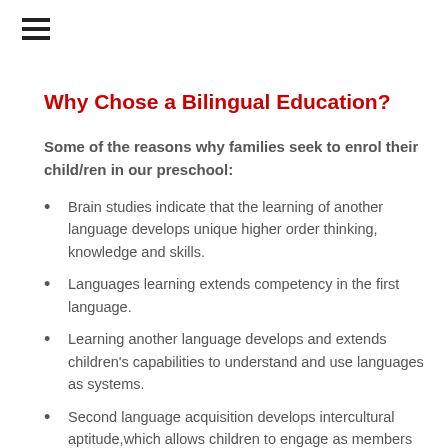[Figure (other): Hamburger menu icon (three horizontal bars)]
Why Chose a Bilingual Education?
Some of the reasons why families seek to enrol their child/ren in our preschool:
Brain studies indicate that the learning of another language develops unique higher order thinking, knowledge and skills.
Languages learning extends competency in the first language.
Learning another language develops and extends children's capabilities to understand and use languages as systems.
Second language acquisition develops intercultural aptitude,which allows children to engage as members of, and move across local, regional and global communities. It has the potential to create broader opportunities for employment in the future.